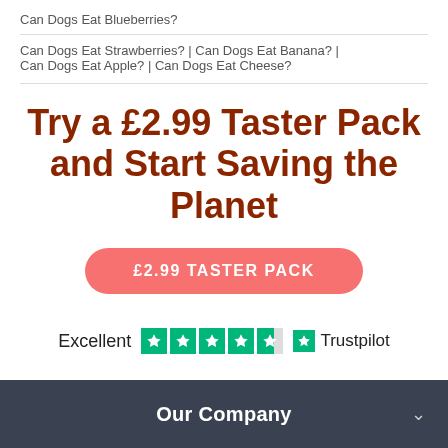Can Dogs Eat Blueberries?
Can Dogs Eat Strawberries? | Can Dogs Eat Banana? | Can Dogs Eat Apple? | Can Dogs Eat Cheese?
Try a £2.99 Taster Pack and Start Saving the Planet
£2.99 TASTER PACK
Excellent  Trustpilot
Our Company